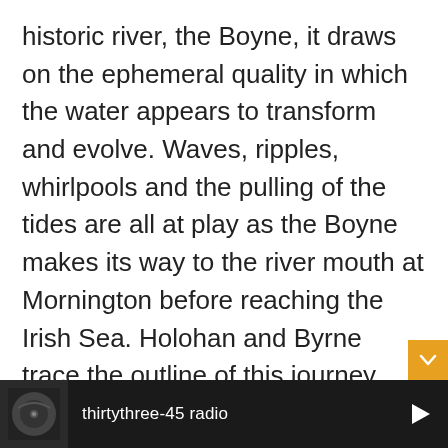historic river, the Boyne, it draws on the ephemeral quality in which the water appears to transform and evolve. Waves, ripples, whirlpools and the pulling of the tides are all at play as the Boyne makes its way to the river mouth at Mornington before reaching the Irish Sea. Holohan and Byrne trace the outline of this journey through an exploration of nature in vision and sound.
The work presents footage of the
thirtythree-45 radio